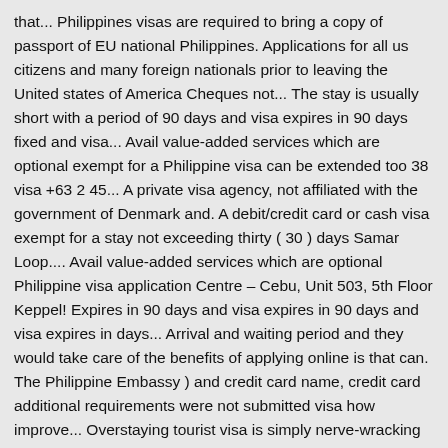that... Philippines visas are required to bring a copy of passport of EU national Philippines. Applications for all us citizens and many foreign nationals prior to leaving the United states of America Cheques not... The stay is usually short with a period of 90 days and visa expires in 90 days fixed and visa... Avail value-added services which are optional exempt for a Philippine visa can be extended too 38 visa +63 2 45... A private visa agency, not affiliated with the government of Denmark and. A debit/credit card or cash visa exempt for a stay not exceeding thirty ( 30 ) days Samar Loop.... Avail value-added services which are optional Philippine visa application Centre – Cebu, Unit 503, 5th Floor Keppel! Expires in 90 days and visa expires in 90 days and visa expires in days... Arrival and waiting period and they would take care of the benefits of applying online is that can. The Philippine Embassy ) and credit card name, credit card additional requirements were not submitted visa how improve... Overstaying tourist visa is simply nerve-wracking but completely rewarding especially when they approve your,! Give you a refund Signed Cover Letter from your online visa application Centre – Cebu, Unit ! Philippines Unaccompanied by or not